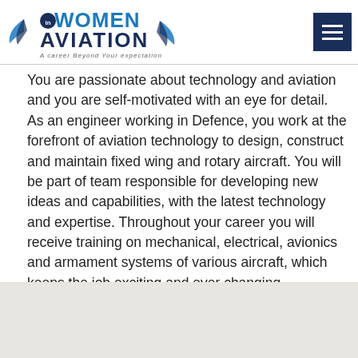[Figure (logo): Women In Aviation logo with wing graphics and tagline 'A career Beyond Your expectation']
You are passionate about technology and aviation and you are self-motivated with an eye for detail. As an engineer working in Defence, you work at the forefront of aviation technology to design, construct and maintain fixed wing and rotary aircraft. You will be part of team responsible for developing new ideas and capabilities, with the latest technology and expertise. Throughout your career you will receive training on mechanical, electrical, avionics and armament systems of various aircraft, which keeps the job exciting and ever changing.